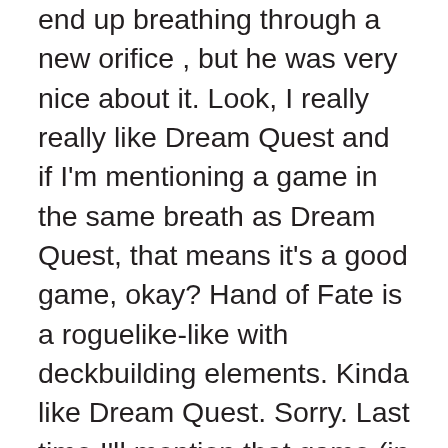end up breathing through a new orifice , but he was very nice about it. Look, I really really like Dream Quest and if I'm mentioning a game in the same breath as Dream Quest, that means it's a good game, okay? Hand of Fate is a roguelike-like with deckbuilding elements. Kinda like Dream Quest. Sorry. Last time I'll mention that game (in this paragraph). The dungeon tiles you navigate are made up of cards, and you can customize the cards that make up the dungeon deck as well as the item deck which is essentially the loot table. It's very cool to be able to customize your experience but there's still an element of uncertainty which prevents it from getting stale. It also looks really great. Combat actually takes place as a 3rd person action style affair, which looks good, but the things I really enjoy are all the little touches. Things like the cards dropping down and materializing into your equipment, the animations for the dealer setting up and dealing the cards